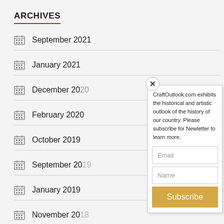ARCHIVES
September 2021
January 2021
December 2020
February 2020
October 2019
September 2019
January 2019
November 2018
[Figure (screenshot): Popup modal with close X button, newsletter subscription text reading 'CraftOutlook.com exhibits the historical and artistic outlook of the history of our country. Please subscribe for Newletter to learn more.', Email input field, Name input field, and a gold Subscribe button.]